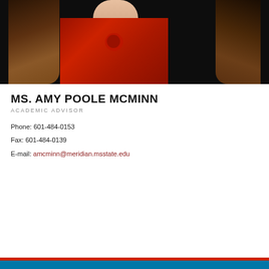[Figure (photo): Headshot of Ms. Amy Poole McMinn wearing a red blouse, with long brown hair, against a dark background.]
MS. AMY POOLE MCMINN
ACADEMIC ADVISOR
Phone: 601-484-0153
Fax: 601-484-0139
E-mail: amcminn@meridian.msstate.edu